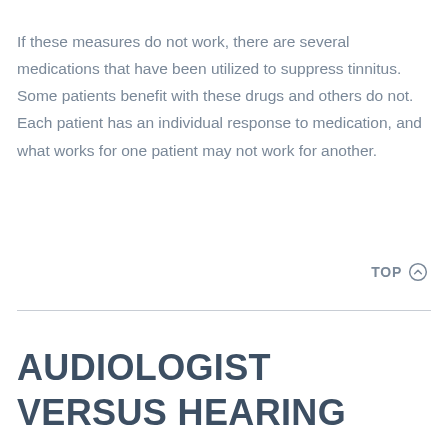If these measures do not work, there are several medications that have been utilized to suppress tinnitus. Some patients benefit with these drugs and others do not. Each patient has an individual response to medication, and what works for one patient may not work for another.
TOP ⊕
AUDIOLOGIST VERSUS HEARING